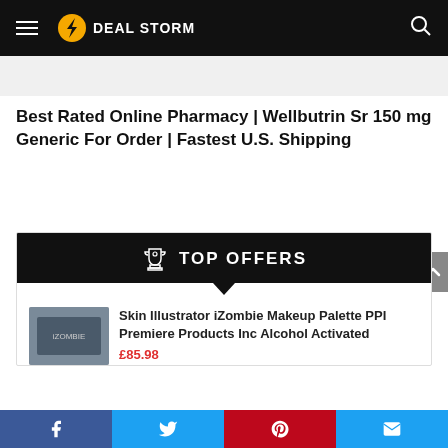Deal Storm
Best Rated Online Pharmacy | Wellbutrin Sr 150 mg Generic For Order | Fastest U.S. Shipping
[Figure (other): Top Offers section header with trophy icon and an offer listing for Skin Illustrator iZombie Makeup Palette PPI Premiere Products Inc Alcohol Activated]
Facebook, Twitter, Pinterest, Mail social share buttons